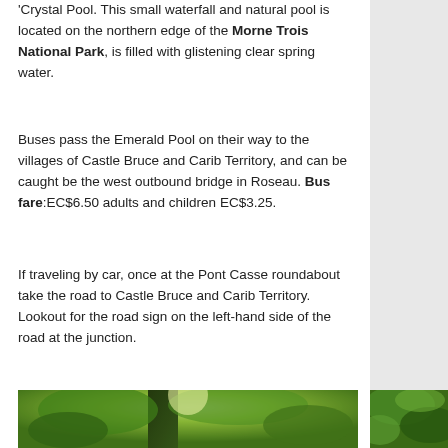'Crystal Pool. This small waterfall and natural pool is located on the northern edge of the Morne Trois National Park, is filled with glistening clear spring water.
Buses pass the Emerald Pool on their way to the villages of Castle Bruce and Carib Territory, and can be caught be the west outbound bridge in Roseau. Bus fare:EC$6.50 adults and children EC$3.25.
If traveling by car, once at the Pont Casse roundabout take the road to Castle Bruce and Carib Territory. Lookout for the road sign on the left-hand side of the road at the junction.
[Figure (photo): Upward-looking photograph through a tropical rainforest canopy showing tall trees with vines and lush green foliage against a bright sky, with a second photo of dense green leaves partially visible on the right edge.]